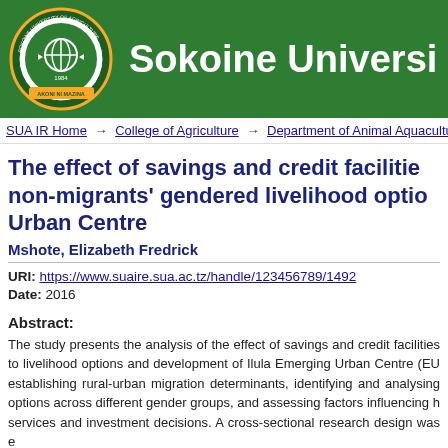[Figure (logo): Sokoine University of Agriculture circular logo/seal with green background header showing university name]
Sokoine Universi
SUA IR Home → College of Agriculture → Department of Animal Aquaculture
The effect of savings and credit facilities on non-migrants' gendered livelihood options at Ilula Urban Centre
Mshote, Elizabeth Fredrick
URI: https://www.suaire.sua.ac.tz/handle/123456789/1492
Date: 2016
Abstract:
The study presents the analysis of the effect of savings and credit facilities to livelihood options and development of Ilula Emerging Urban Centre (EU establishing rural-urban migration determinants, identifying and analysing options across different gender groups, and assessing factors influencing h services and investment decisions. A cross-sectional research design was e